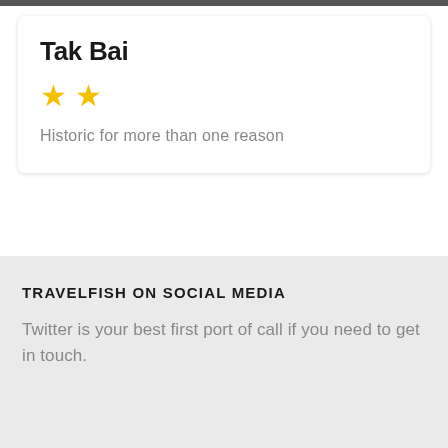Tak Bai
Historic for more than one reason
TRAVELFISH ON SOCIAL MEDIA
Twitter is your best first port of call if you need to get in touch.